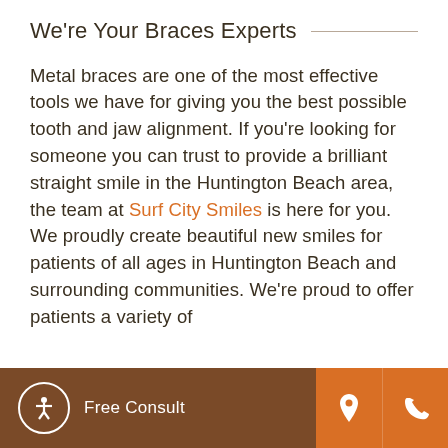We're Your Braces Experts
Metal braces are one of the most effective tools we have for giving you the best possible tooth and jaw alignment. If you're looking for someone you can trust to provide a brilliant straight smile in the Huntington Beach area, the team at Surf City Smiles is here for you. We proudly create beautiful new smiles for patients of all ages in Huntington Beach and surrounding communities. We're proud to offer patients a variety of
Free Consult | [location icon] | [phone icon]